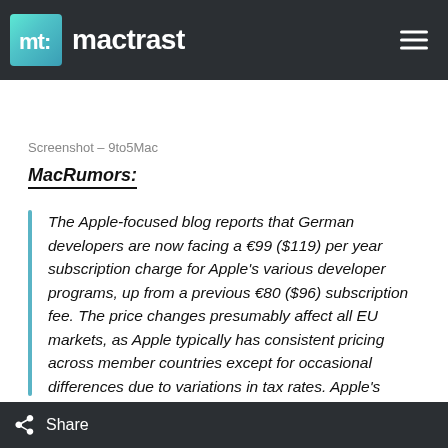mactrast
Screenshot – 9to5Mac
MacRumors:
The Apple-focused blog reports that German developers are now facing a €99 ($119) per year subscription charge for Apple's various developer programs, up from a previous €80 ($96) subscription fee. The price changes presumably affect all EU markets, as Apple typically has consistent pricing across member countries except for occasional differences due to variations in tax rates. Apple's developer programs are priced at $99 per year in the United States.
Share